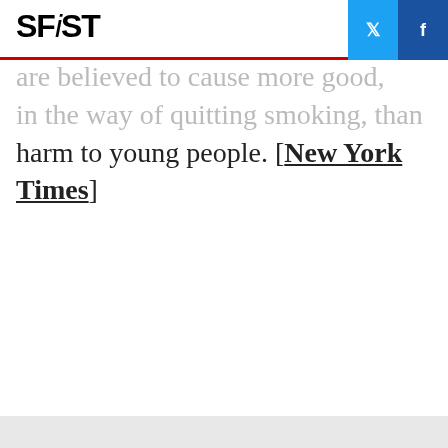SFiST
are believed to cause more good, in the way of quitting smoking, than harm to young people. [New York Times]